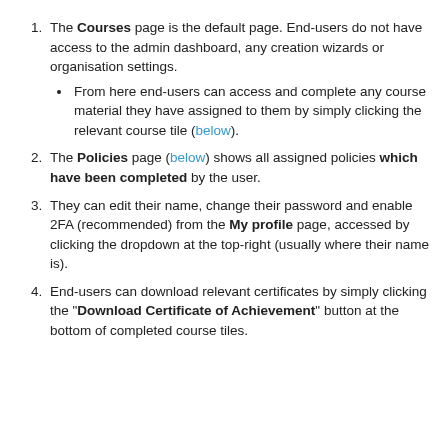The Courses page is the default page. End-users do not have access to the admin dashboard, any creation wizards or organisation settings. [sub-bullet] From here end-users can access and complete any course material they have assigned to them by simply clicking the relevant course tile (below).
The Policies page (below) shows all assigned policies which have been completed by the user.
They can edit their name, change their password and enable 2FA (recommended) from the My profile page, accessed by clicking the dropdown at the top-right (usually where their name is).
End-users can download relevant certificates by simply clicking the "Download Certificate of Achievement" button at the bottom of completed course tiles.